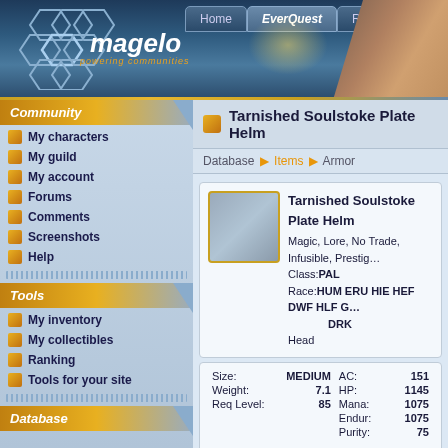[Figure (screenshot): Magelo website banner with navigation tabs (Home, EverQuest, Rift), hexagonal logo, 'powering communities' tagline, and character artwork on the right]
Home | EverQuest | Rift
Community
My characters
My guild
My account
Forums
Comments
Screenshots
Help
Tools
My inventory
My collectibles
Ranking
Tools for your site
Database
Tarnished Soulstoke Plate Helm
Database ▶ Items ▶ Armor
Tarnished Soulstoke Plate Helm
Magic, Lore, No Trade, Infusible, Prestige
Class:PAL
Race:HUM ERU HIE HEF DWF HLF GNM IKS OGR TRL BBU ELF HEF DRK
Head
| Attribute | Value | Attribute | Value |
| --- | --- | --- | --- |
| Size: | MEDIUM | AC: | 151 |
| Weight: | 7.1 | HP: | 1145 |
| Req Level: | 85 | Mana: | 1075 |
|  |  | Endur: | 1075 |
|  |  | Purity: | 75 |
| Strength: | 40 +6 | Magic: | 35 |
| Stamina: | 25 +7 | Fire: | 50 |